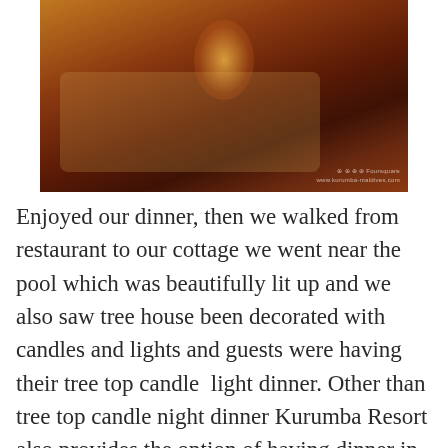[Figure (photo): Warm candlelit dinner table at a restaurant, with white tablecloth, candles, and floral decoration in dim amber lighting. Watermark visible in bottom right corner.]
Enjoyed our dinner, then we walked from restaurant to our cottage we went near the pool which was beautifully lit up and we also saw tree house been decorated with candles and lights and guests were having their tree top candle  light dinner. Other than tree top candle night dinner Kurumba Resort also provides the option of having dinner in a cave and also beside the pool. You get a private space to enjoy the dinner with your loved one on